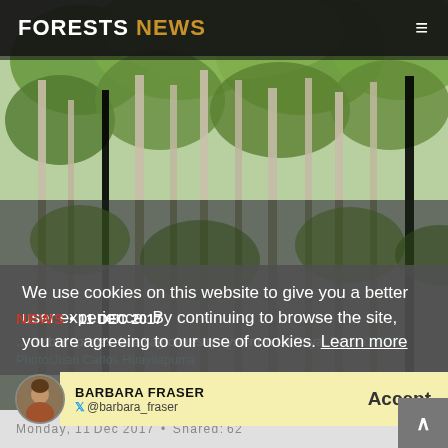[Figure (photo): Forest trees photograph used as hero background image showing tall thin trees with green canopy]
FORESTS NEWS ≡
We use cookies on this website to give you a better user experience. By continuing to browse the site, you are agreeing to our use of cookies. Learn more
NEWS • 11 DEC 2017
... timber species, in an agroforestry system in La Roya, Peru. CIFOR Photo/Juan Carlos Huayllapuma
BARBARA FRASER
@barbara_fraser Accept
Monday, 11 December 2017 • Shared: 62